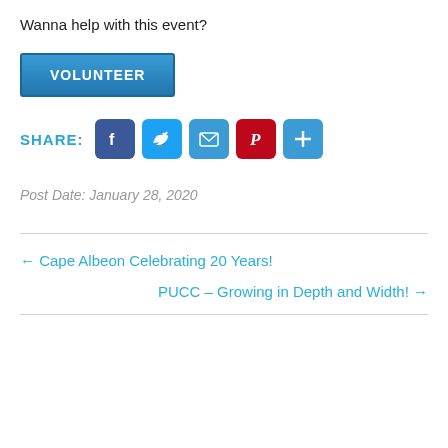Wanna help with this event?
[Figure (other): Blue VOLUNTEER button]
[Figure (other): Share row with label SHARE: and social icons for Facebook, Twitter, Email, Pinterest, and a plus/more button]
Post Date: January 28, 2020
← Cape Albeon Celebrating 20 Years!
PUCC – Growing in Depth and Width! →